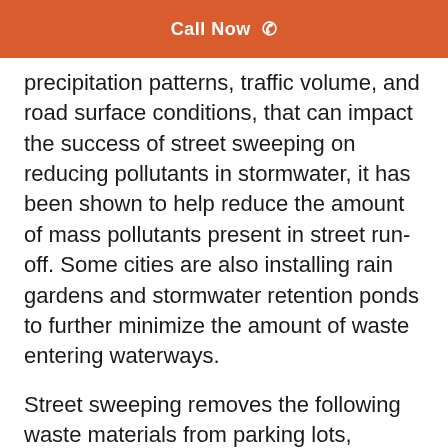Call Now ☎
precipitation patterns, traffic volume, and road surface conditions, that can impact the success of street sweeping on reducing pollutants in stormwater, it has been shown to help reduce the amount of mass pollutants present in street run-off. Some cities are also installing rain gardens and stormwater retention ponds to further minimize the amount of waste entering waterways.
Street sweeping removes the following waste materials from parking lots, roadways, curb gutters